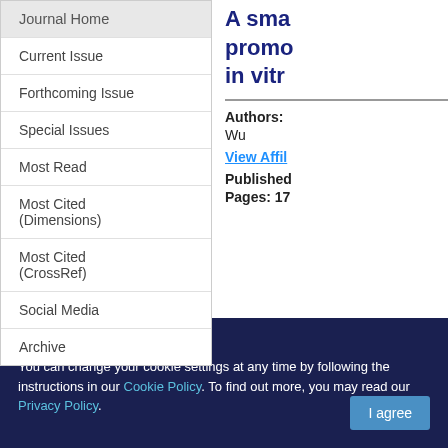Journal Home
Current Issue
Forthcoming Issue
Special Issues
Most Read
Most Cited (Dimensions)
Most Cited (CrossRef)
Social Media
Archive
A sma promo in vitr
Authors: Wu
View Affil
Published
Pages: 17
This site uses cookies
You can change your cookie settings at any time by following the instructions in our Cookie Policy. To find out more, you may read our Privacy Policy.